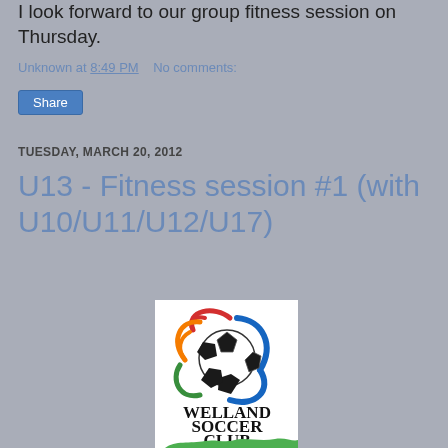I look forward to our group fitness session on Thursday.
Unknown at 8:49 PM    No comments:
Share
TUESDAY, MARCH 20, 2012
U13 - Fitness session #1 (with U10/U11/U12/U17)
[Figure (logo): Welland Soccer Club logo with soccer ball and colorful swirl design, text reads WELLAND SOCCER CLUB]